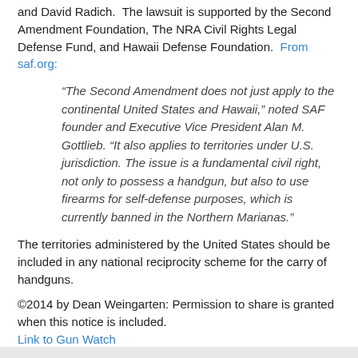and David Radich.  The lawsuit is supported by the Second Amendment Foundation, The NRA Civil Rights Legal Defense Fund, and Hawaii Defense Foundation.  From saf.org:
“The Second Amendment does not just apply to the continental United States and Hawaii,” noted SAF founder and Executive Vice President Alan M. Gottlieb. “It also applies to territories under U.S. jurisdiction. The issue is a fundamental civil right, not only to possess a handgun, but also to use firearms for self-defense purposes, which is currently banned in the Northern Marianas.”
The territories administered by the United States should be included in any national reciprocity scheme for the carry of handguns.
©2014 by Dean Weingarten: Permission to share is granted when this notice is included. Link to Gun Watch